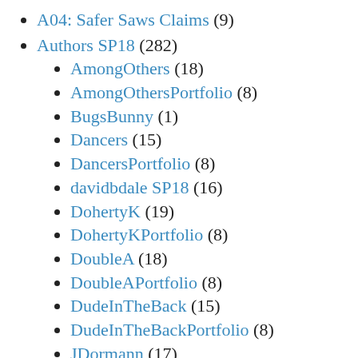A04: Safer Saws Claims (9)
Authors SP18 (282)
AmongOthers (18)
AmongOthersPortfolio (8)
BugsBunny (1)
Dancers (15)
DancersPortfolio (8)
davidbdale SP18 (16)
DohertyK (19)
DohertyKPortfolio (8)
DoubleA (18)
DoubleAPortfolio (8)
DudeInTheBack (15)
DudeInTheBackPortfolio (8)
JDormann (17)
JDormannPortfolio (8)